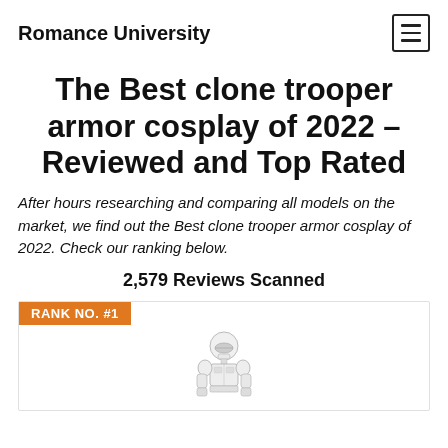Romance University
The Best clone trooper armor cosplay of 2022 – Reviewed and Top Rated
After hours researching and comparing all models on the market, we find out the Best clone trooper armor cosplay of 2022. Check our ranking below.
2,579 Reviews Scanned
RANK NO. #1
[Figure (photo): Clone trooper costume/armor cosplay product image, white clone trooper figure shown from torso up]